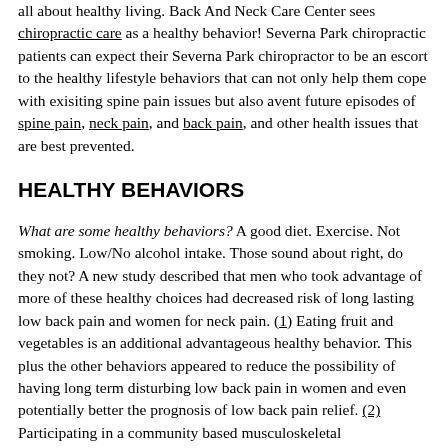all about healthy living. Back And Neck Care Center sees chiropractic care as a healthy behavior! Severna Park chiropractic patients can expect their Severna Park chiropractor to be an escort to the healthy lifestyle behaviors that can not only help them cope with exisiting spine pain issues but also avent future episodes of spine pain, neck pain, and back pain, and other health issues that are best prevented.
HEALTHY BEHAVIORS
What are some healthy behaviors? A good diet. Exercise. Not smoking. Low/No alcohol intake. Those sound about right, do they not? A new study described that men who took advantage of more of these healthy choices had decreased risk of long lasting low back pain and women for neck pain. (1) Eating fruit and vegetables is an additional advantageous healthy behavior. This plus the other behaviors appeared to reduce the possibility of having long term disturbing low back pain in women and even potentially better the prognosis of low back pain relief. (2) Participating in a community based musculoskeletal physiotherapy program enhances the health-related quality of life for patients. (3) Utilizing a lumbar support belt improves postural control when standing on unlevel